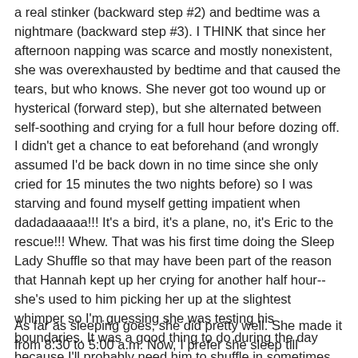a real stinker (backward step #2) and bedtime was a nightmare (backward step #3).  I THINK that since her afternoon napping was scarce and mostly nonexistent, she was overexhausted by bedtime and that caused the tears, but who knows.  She never got too wound up or hysterical (forward step), but she alternated between self-soothing and crying for a full hour before dozing off.  I didn't get a chance to eat beforehand (and wrongly assumed I'd be back down in no time since she only cried for 15 minutes the two nights before) so I was starving and found myself getting impatient when dadadaaaaa!!! It's a bird, it's a plane, no, it's Eric to the rescue!!! Whew.  That was his first time doing the Sleep Lady Shuffle so that may have been part of the reason that Hannah kept up her crying for another half hour--she's used to him picking her up at the slightest whimper so I'm guessing she was testing his boundaries.  It was a good thing to do during the day because I'll probably need him to shuffle in sometimes at night (when he has days off) and this will make it easier for both him and her.
As far as sleeping goes, she did pretty well.  She made it from 8:30 to 5:00 a.m.  Now, I prefer she sleep till 7:00/7:30